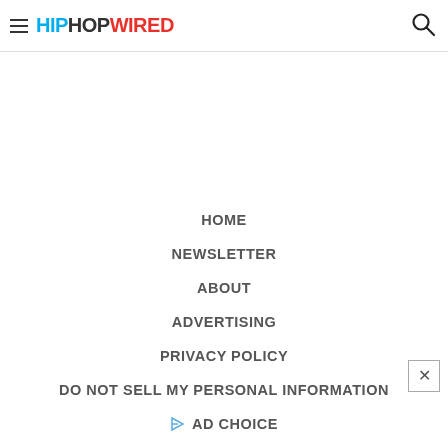HIPHOPWIRED
HOME
NEWSLETTER
ABOUT
ADVERTISING
PRIVACY POLICY
DO NOT SELL MY PERSONAL INFORMATION
AD CHOICE
TERMS OF SERVICE